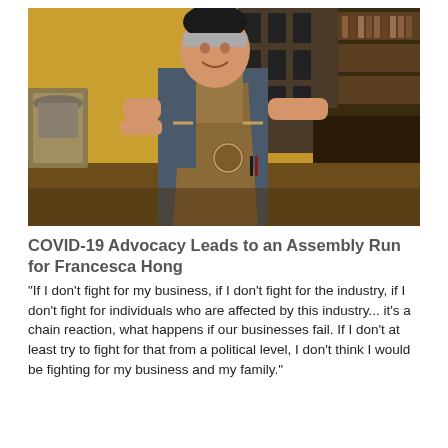[Figure (photo): A woman wearing a gray t-shirt, tan apron with a logo, and a striped headband stands confidently with hands on hips in a restaurant kitchen/bar setting. The background shows golden walls, shelving with bottles, and kitchen equipment.]
COVID-19 Advocacy Leads to an Assembly Run for Francesca Hong
"If I don't fight for my business, if I don't fight for the industry, if I don't fight for individuals who are affected by this industry... it's a chain reaction, what happens if our businesses fail. If I don't at least try to fight for that from a political level, I don't think I would be fighting for my business and my family."